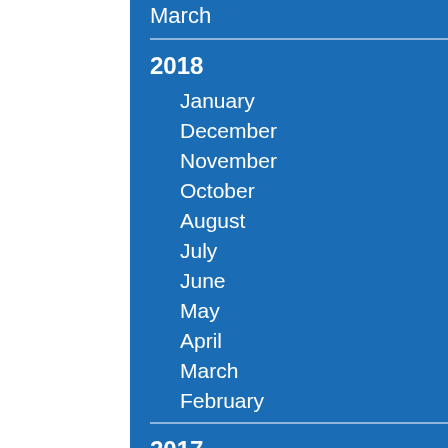March ›
2018 ›
January ›
December ›
November ›
October ›
August ›
July ›
June ›
May ›
April ›
March ›
February ›
2017 ›
January ›